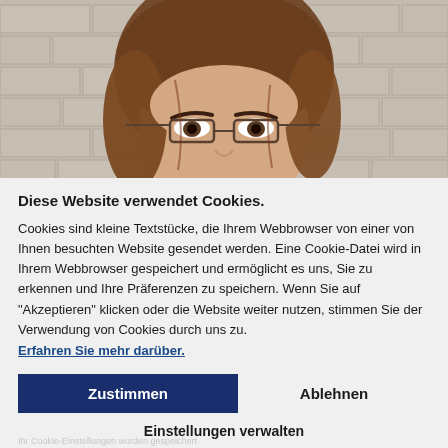[Figure (photo): Close-up portrait of a woman with glasses and brown wavy hair, against a brick wall background. Only the upper half of the face is visible.]
Diese Website verwendet Cookies.
Cookies sind kleine Textstücke, die Ihrem Webbrowser von einer von Ihnen besuchten Website gesendet werden. Eine Cookie-Datei wird in Ihrem Webbrowser gespeichert und ermöglicht es uns, Sie zu erkennen und Ihre Präferenzen zu speichern. Wenn Sie auf "Akzeptieren" klicken oder die Website weiter nutzen, stimmen Sie der Verwendung von Cookies durch uns zu.
Erfahren Sie mehr darüber.
Zustimmen
Ablehnen
Einstellungen verwalten